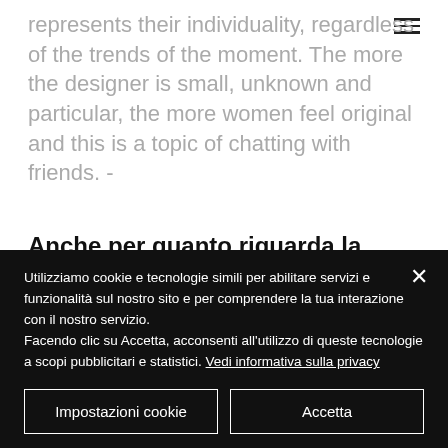represents their individuality, regardless of the trends of the moment. The more the designer is small, unknown and particular, the more women feel original and this is a topic of chatting with friends. -
Anche per quanto riguarda la scelta degli anelli di fidanzamento?
Utilizziamo cookie e tecnologie simili per abilitare servizi e funzionalità sul nostro sito e per comprendere la tua interazione con il nostro servizio.
Facendo clic su Accetta, acconsenti all'utilizzo di queste tecnologie a scopi pubblicitari e statistici. Vedi informativa sulla privacy
Impostazioni cookie
Accetta